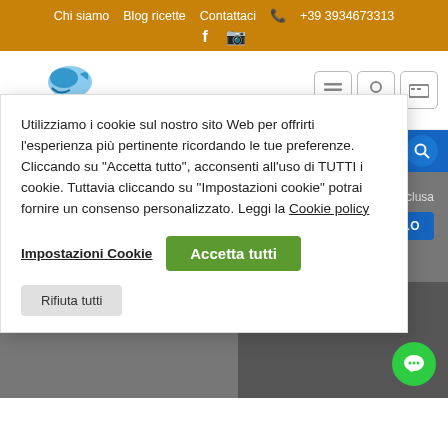Chi siamo  Blog ricette  Contattaci  📞 +39 3934673313
[Figure (logo): Specialità del Mediterraneo logo with dolphin icon]
Utilizziamo i cookie sul nostro sito Web per offrirti l'esperienza più pertinente ricordando le tue preferenze. Cliccando su "Accetta tutto", acconsenti all'uso di TUTTI i cookie. Tuttavia cliccando su "Impostazioni cookie" potrai fornire un consenso personalizzato. Leggi la Cookie policy
Impostazioni Cookie
Accetta tutti
Rifiuta tutti
00 IVA inclusa
NEL CARRELLO
PEDIZIONE
editerr Siracu